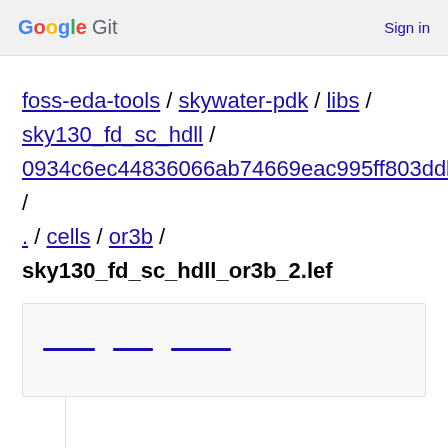Google Git  Sign in
foss-eda-tools / skywater-pdk / libs / sky130_fd_sc_hdll / 0934c6ec44836066ab74669eac995ff803ddb819 / . / cells / or3b / sky130_fd_sc_hdll_or3b_2.lef
[Figure (screenshot): Toolbar with three placeholder button bars in a light gray box]
[Figure (screenshot): Code viewer area with line numbers column on left and empty code area on right]